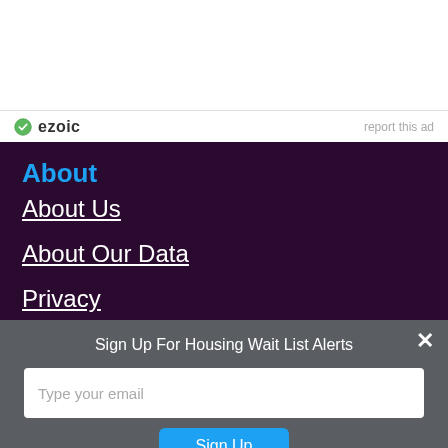[Figure (logo): Ezoic logo with green checkmark circle icon and 'ezoic' text in dark letters]
report this ad
About
About Us
About Our Data
Privacy
Equal Housing [icons]
Sign Up For Housing Wait List Alerts
Type your email
Sign Up